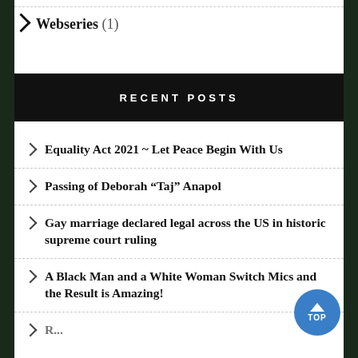Webseries (1)
RECENT POSTS
Equality Act 2021 ~ Let Peace Begin With Us
Passing of Deborah “Taj” Anapol
Gay marriage declared legal across the US in historic supreme court ruling
A Black Man and a White Woman Switch Mics and the Result is Amazing!